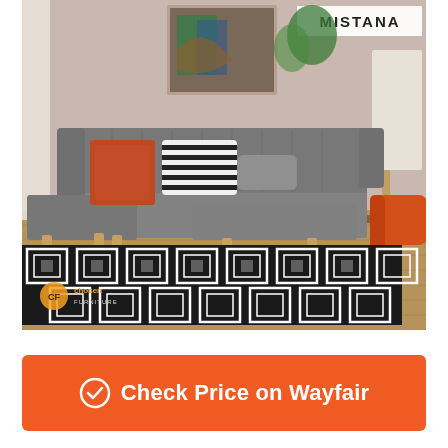[Figure (photo): Product photo of a gray tufted sectional sofa with chaise lounge in a styled living room setting. The sofa has wooden legs and decorative pillows (striped black/white and gray). An orange accent chair is partially visible on the right. A black and white geometric patterned rug is on the hardwood floor. A 'MISTANA' brand logo is in the upper right corner. A 'chosen furniture' watermark logo is in the lower left corner.]
Check Price on Wayfair